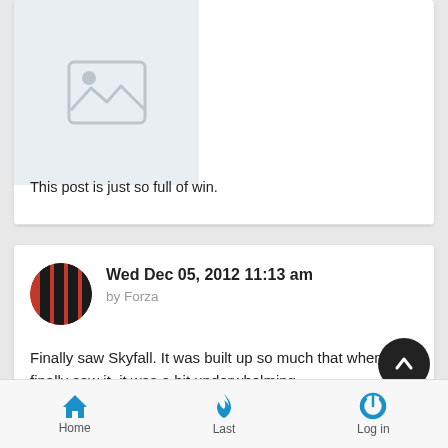[Figure (screenshot): Placeholder image thumbnail with mountain/landscape icon on light blue-grey background]
This post is just so full of win.
[Figure (illustration): Red and black striped circular avatar for user Forza]
Wed Dec 05, 2012 11:13 am by Forza
Finally saw Skyfall. It was built up so much that when I finally saw it, it was a bit underwhelming.
Home   Last   Log in